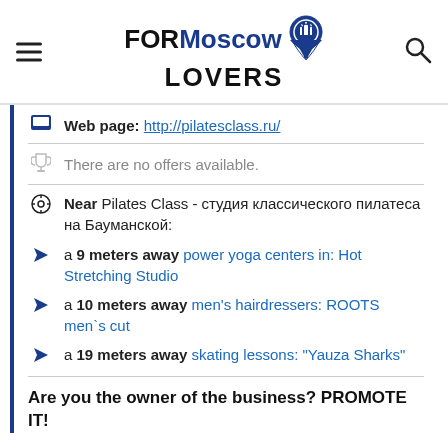FORMoscow LOVERS
Web page: http://pilatesclass.ru/
There are no offers available.
Near Pilates Class - студия классического пилатеса на Бауманской:
a 9 meters away power yoga centers in: Hot Stretching Studio
a 10 meters away men's hairdressers: ROOTS men`s cut
a 19 meters away skating lessons: "Yauza Sharks"
Are you the owner of the business? PROMOTE IT!